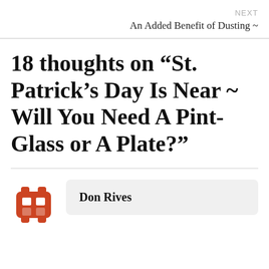NEXT
An Added Benefit of Dusting ~
18 thoughts on “St. Patrick’s Day Is Near ~ Will You Need A Pint-Glass or A Plate?”
Don Rives